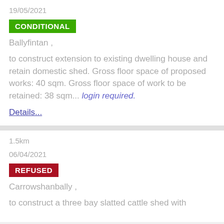19/05/2021
CONDITIONAL
Ballyfintan ,
to construct extension to existing dwelling house and retain domestic shed. Gross floor space of proposed works: 40 sqm. Gross floor space of work to be retained: 38 sqm... login required.
Details...
1.5km
06/04/2021
REFUSED
Carrowshanbally ,
to construct a three bay slatted cattle shed with